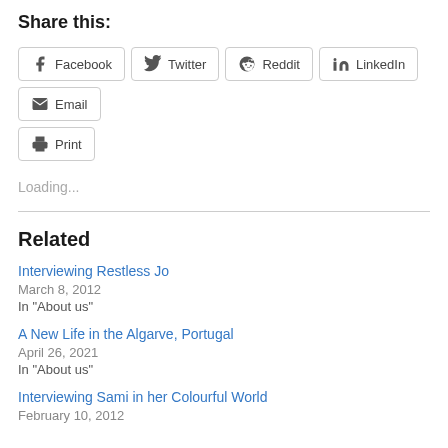Share this:
[Figure (other): Social sharing buttons: Facebook, Twitter, Reddit, LinkedIn, Email, Print]
Loading...
Related
Interviewing Restless Jo
March 8, 2012
In "About us"
A New Life in the Algarve, Portugal
April 26, 2021
In "About us"
Interviewing Sami in her Colourful World
February 10, 2012